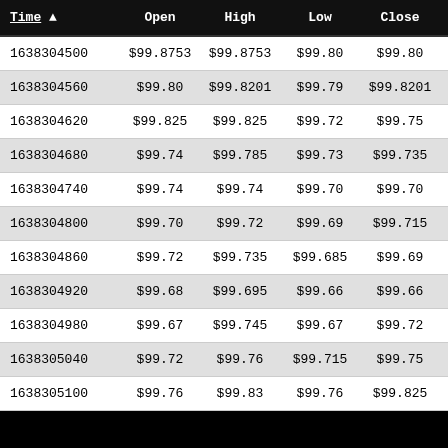| Time ▲ | Open | High | Low | Close | V |
| --- | --- | --- | --- | --- | --- |
| 1638304500 | $99.8753 | $99.8753 | $99.80 | $99.80 | 1 |
| 1638304560 | $99.80 | $99.8201 | $99.79 | $99.8201 | 1 |
| 1638304620 | $99.825 | $99.825 | $99.72 | $99.75 | 8 |
| 1638304680 | $99.74 | $99.785 | $99.73 | $99.735 | 6 |
| 1638304740 | $99.74 | $99.74 | $99.70 | $99.70 | 7 |
| 1638304800 | $99.70 | $99.72 | $99.69 | $99.715 | 1 |
| 1638304860 | $99.72 | $99.735 | $99.685 | $99.69 | 1 |
| 1638304920 | $99.68 | $99.695 | $99.66 | $99.66 | 6 |
| 1638304980 | $99.67 | $99.745 | $99.67 | $99.72 | 2 |
| 1638305040 | $99.72 | $99.76 | $99.715 | $99.75 | 1 |
| 1638305100 | $99.76 | $99.83 | $99.76 | $99.825 | 1 |